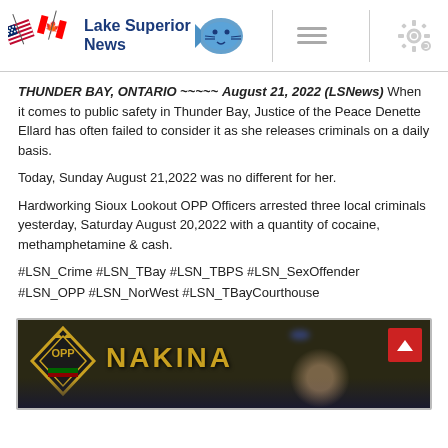Lake Superior News
THUNDER BAY, ONTARIO ~~~~~ August 21, 2022 (LSNews) When it comes to public safety in Thunder Bay, Justice of the Peace Denette Ellard has often failed to consider it as she releases criminals on a daily basis.
Today, Sunday August 21,2022 was no different for her.
Hardworking Sioux Lookout OPP Officers arrested three local criminals yesterday, Saturday August 20,2022 with a quantity of cocaine, methamphetamine & cash.
#LSN_Crime #LSN_TBay #LSN_TBPS #LSN_SexOffender #LSN_OPP #LSN_NorWest #LSN_TBayCourthouse
[Figure (photo): OPP badge with NAKINA text displayed on dark background with a person partially visible]